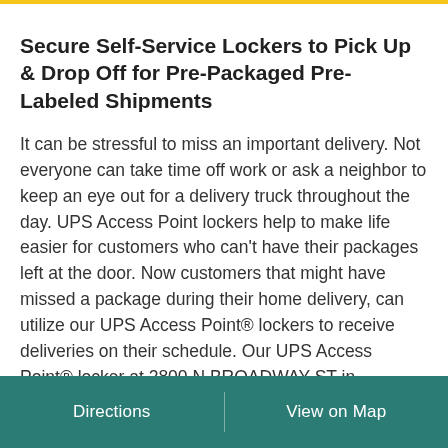Secure Self-Service Lockers to Pick Up & Drop Off for Pre-Packaged Pre-Labeled Shipments
It can be stressful to miss an important delivery. Not everyone can take time off work or ask a neighbor to keep an eye out for a delivery truck throughout the day. UPS Access Point lockers help to make life easier for customers who can't have their packages left at the door. Now customers that might have missed a package during their home delivery, can utilize our UPS Access Point® lockers to receive deliveries on their schedule. Our UPS Access Point® locker at 2800 N BROADWAY ST in KNOXVILLE,TN, offers convenient self-service pick-up and drop-off of pre-packaged pre-labeled shipments.
Directions | View on Map